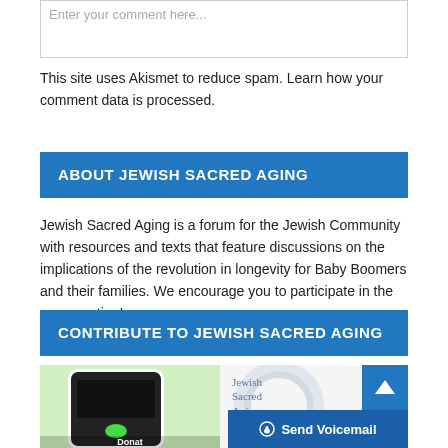Enter your comment here...
This site uses Akismet to reduce spam. Learn how your comment data is processed.
ABOUT JEWISH SACRED AGING
Jewish Sacred Aging is a forum for the Jewish Community with resources and texts that feature discussions on the implications of the revolution in longevity for Baby Boomers and their families. We encourage you to participate in the conversation!
CONTRIBUTE TO JEWISH SACRED AGING
[Figure (illustration): Image of a smartphone with a green Donate button on a light green background, next to Jewish Sacred Aging logo with concentric circles, and a Send Voicemail button overlay]